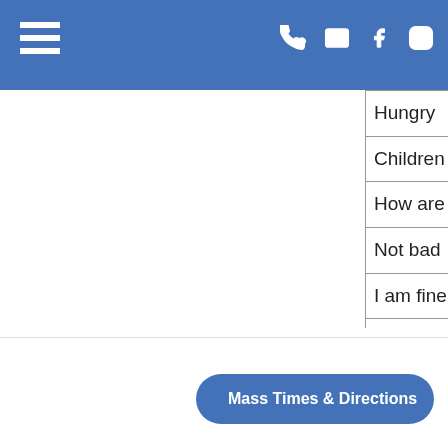Navigation header with hamburger menu and icons (phone, email, facebook, instagram)
| English | Kreyol |
| --- | --- |
| Hungry | Grangou |
| Children | Pitit |
| How are you? | Kijan ou ye? |
| Not bad | Pa pi mal |
| I am fine | M-byen |
| Thank you | Mesi |
| Excuse me | Eskize mwen |
| I am hot/cold/tired | Mwen cho/fret/fa... |
| How much? How many? | Konben? |
| I do not speak Kreyol | Mwen pa pale Kre... |
| Goodbye! | Orevwa! |
Mass Times & Directions